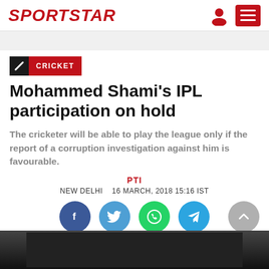SPORTSTAR
CRICKET
Mohammed Shami’s IPL participation on hold
The cricketer will be able to play the league only if the report of a corruption investigation against him is favourable.
PTI
NEW DELHI   16 MARCH, 2018 15:16 IST
[Figure (other): Social sharing buttons: Facebook, Twitter, WhatsApp, Telegram; scroll-to-top button]
[Figure (photo): Bottom portion of article showing a dark photograph, partially cropped]